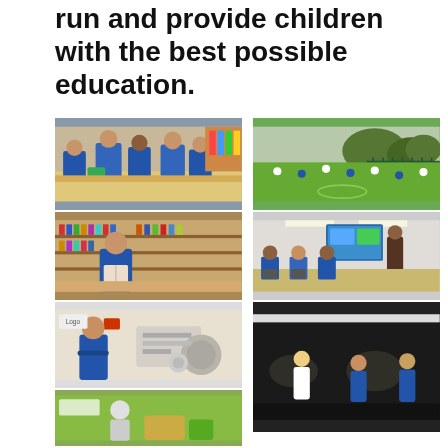run and provide children with the best possible education.
[Figure (photo): Children in blue school uniforms sitting at tables using tablets in a classroom]
[Figure (photo): Children playing on a green sports field with fencing and trees in the background]
[Figure (photo): Child in blue school uniform reading a book in a school library with bookshelves]
[Figure (photo): Classroom with teacher at interactive whiteboard and students on laptops at desks in blue uniforms]
[Figure (photo): Child in blue uniform working with industrial/mechanical equipment]
[Figure (photo): Dark theatre/hall scene with children performing or playing]
[Figure (photo): Partial bottom-left photo showing a person and green backdrop]
[Figure (photo): Partial bottom-right photo showing children in dark performance space]